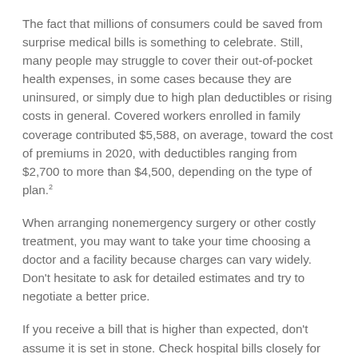The fact that millions of consumers could be saved from surprise medical bills is something to celebrate. Still, many people may struggle to cover their out-of-pocket health expenses, in some cases because they are uninsured, or simply due to high plan deductibles or rising costs in general. Covered workers enrolled in family coverage contributed $5,588, on average, toward the cost of premiums in 2020, with deductibles ranging from $2,700 to more than $4,500, depending on the type of plan.²
When arranging nonemergency surgery or other costly treatment, you may want to take your time choosing a doctor and a facility because charges can vary widely. Don't hesitate to ask for detailed estimates and try to negotiate a better price.
If you receive a bill that is higher than expected, don't assume it is set in stone. Check hospital bills closely for errors, check billing codes, and dispute charges that you think insurance should cover. If all else fails, offer to...